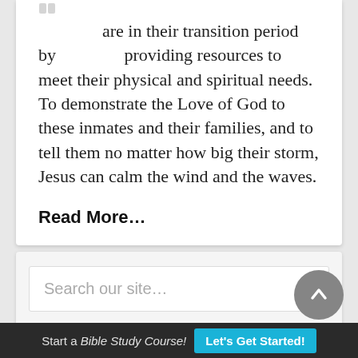are in their transition period by providing resources to meet their physical and spiritual needs. To demonstrate the Love of God to these inmates and their families, and to tell them no matter how big their storm, Jesus can calm the wind and the waves.
Read More...
Search our site...
Start a Bible Study Course! Let's Get Started!